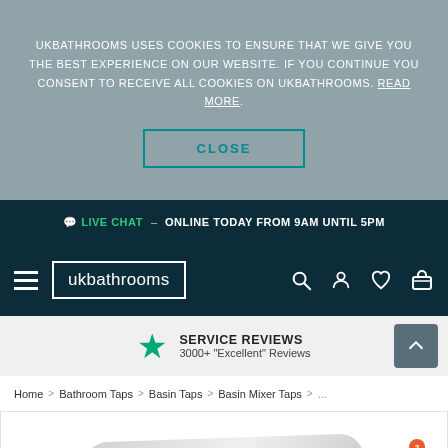UKBATHROOMS USES COOKIES TO ENSURE THAT WE GIVE YOU THE BEST EXPERIENCE ON OUR WEBSITE. IF YOU CONTINUE YOU CONSENT TO RECEIVE ALL COOKIES ON UKBATHROOMS. READ MORE.
CLOSE
💬 LIVE CHAT – ONLINE TODAY FROM 9AM UNTIL 5PM
[Figure (logo): ukbathrooms logo with hamburger menu and navigation icons (search, user, wishlist, basket)]
SERVICE REVIEWS
3000+ "Excellent" Reviews
Home > Bathroom Taps > Basin Taps > Basin Mixer Taps >...
[Figure (photo): Partial product image of a basin mixer tap (chrome/white) at bottom of page]